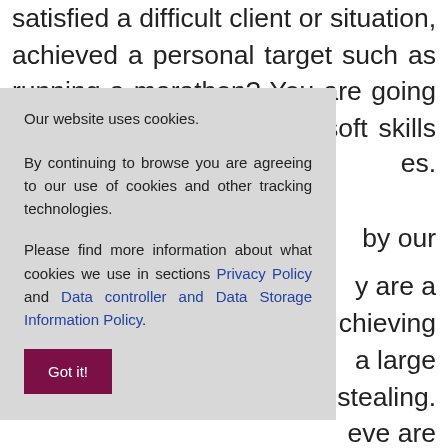satisﬁed a difﬁcult client or situation, achieved a personal target such as running a marathon? You are going to put all those hard and soft skills and es. by our y are a chieving a large stealing. eve are lues as ues as sted 10 have in but are ant. You CV.
Our website uses cookies.

By continuing to browse you are agreeing to our use of cookies and other tracking technologies.

Please find more information about what cookies we use in sections Privacy Policy and Data controller and Data Storage Information Policy.